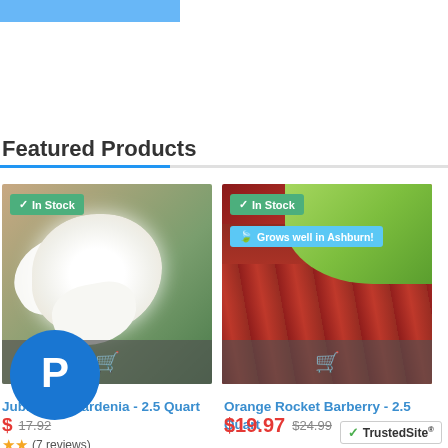Featured Products
[Figure (photo): White gardenia flower held in hand with green leaves, labeled In Stock, with shopping cart overlay]
Jubilee Gardenia - 2.5 Quart
$__.__  $17.92
★★ (7 reviews)
[Figure (photo): Orange Rocket Barberry shrub with red foliage, labeled In Stock and Grows well in Ashburn!, with shopping cart overlay]
Orange Rocket Barberry - 2.5 Quart
$19.97  $24.99
[Figure (logo): TrustedSite badge with green checkmark]